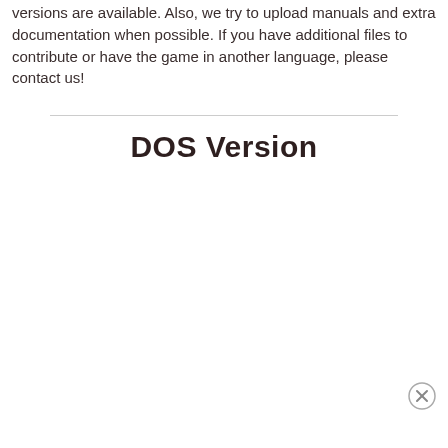versions are available. Also, we try to upload manuals and extra documentation when possible. If you have additional files to contribute or have the game in another language, please contact us!
DOS Version
[Figure (other): Close/dismiss button (circle with X) in bottom-right area]